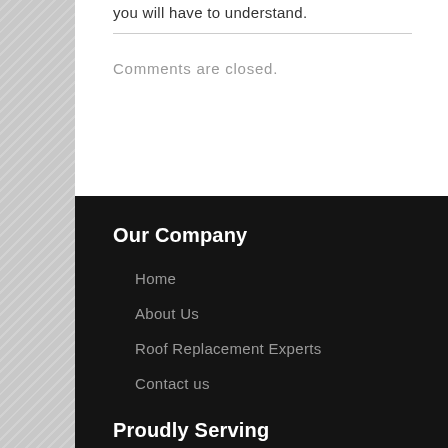you will have to understand.
Comments are closed.
Our Company
Home
About Us
Roof Replacement Experts
Contact us
Proudly Serving